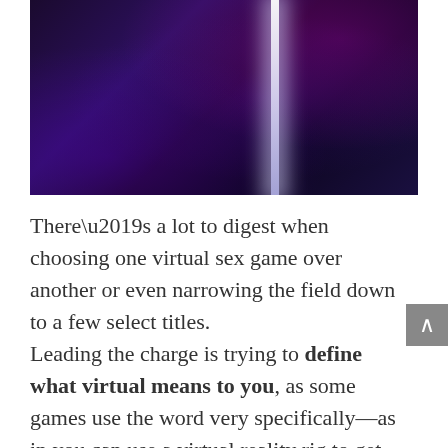[Figure (photo): Dark nightclub scene with a pole dancer in black lingerie and a bald man watching, with purple/blue lighting and a bright vertical light beam]
There’s a lot to digest when choosing one virtual sex game over another or even narrowing the field down to a few select titles.
Leading the charge is trying to define what virtual means to you, as some games use the word very specifically—as in you can use a virtual reality rig to get into the game’s action